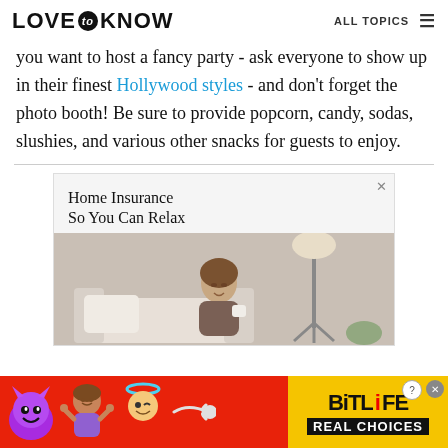LOVE to KNOW   ALL TOPICS
you want to host a fancy party - ask everyone to show up in their finest Hollywood styles - and don't forget the photo booth! Be sure to provide popcorn, candy, sodas, slushies, and various other snacks for guests to enjoy.
[Figure (photo): Advertisement for home insurance showing a woman relaxing on a couch with a coffee cup, a floor lamp in the background. Headline: Home Insurance So You Can Relax]
[Figure (infographic): BitLife app advertisement banner with red background showing emojis (devil, person shrugging, angel) and the BitLife logo with 'REAL CHOICES' text on yellow/black background]